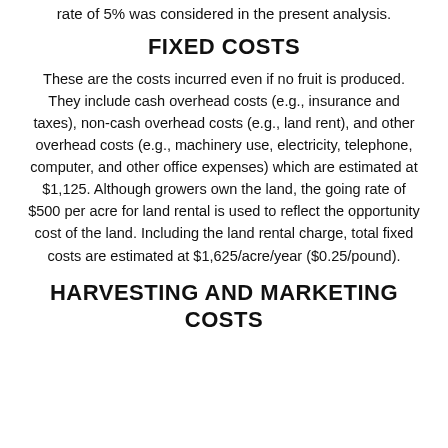rate of 5% was considered in the present analysis.
FIXED COSTS
These are the costs incurred even if no fruit is produced. They include cash overhead costs (e.g., insurance and taxes), non-cash overhead costs (e.g., land rent), and other overhead costs (e.g., machinery use, electricity, telephone, computer, and other office expenses) which are estimated at $1,125. Although growers own the land, the going rate of $500 per acre for land rental is used to reflect the opportunity cost of the land. Including the land rental charge, total fixed costs are estimated at $1,625/acre/year ($0.25/pound).
HARVESTING AND MARKETING COSTS